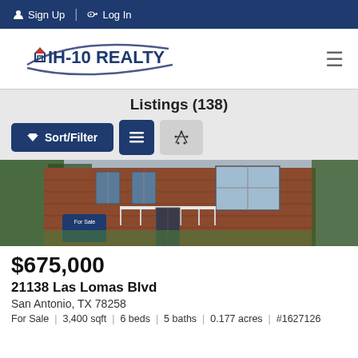Sign Up | Log In
[Figure (logo): IH-10 Realty logo with house icon and curved swoosh]
Listings (138)
[Figure (photo): Two-story red brick house with white balcony railing and For Sale sign]
$675,000
21138 Las Lomas Blvd
San Antonio, TX 78258
For Sale  |  3,400 sqft  |  6 beds  |  5 baths  |  0.177 acres  |  #1627126